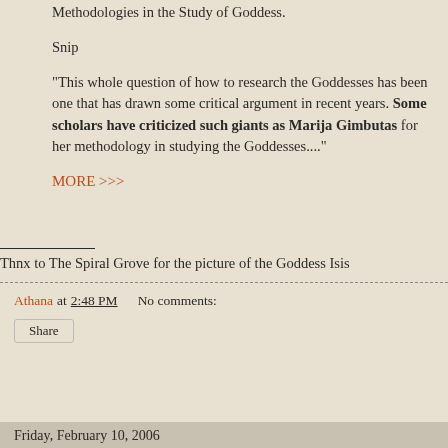Methodologies in the Study of Goddess.
Snip
"This whole question of how to research the Goddesses has been one that has drawn some critical argument in recent years. Some scholars have criticized such giants as Marija Gimbutas for her methodology in studying the Goddesses...."
MORE >>>
Thnx to The Spiral Grove for the picture of the Goddess Isis
Athana at 2:48 PM    No comments:
Share
Friday, February 10, 2006